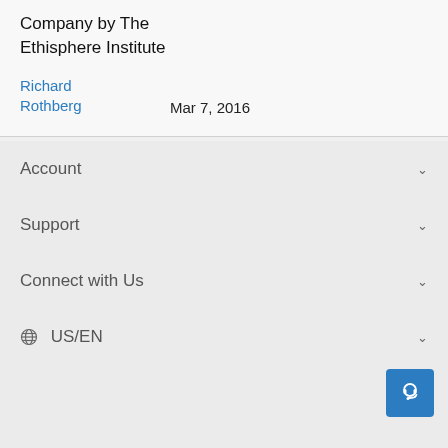Company by The Ethisphere Institute
Richard Rothberg   Mar 7, 2016
Account
Support
Connect with Us
US/EN
Our Offerings